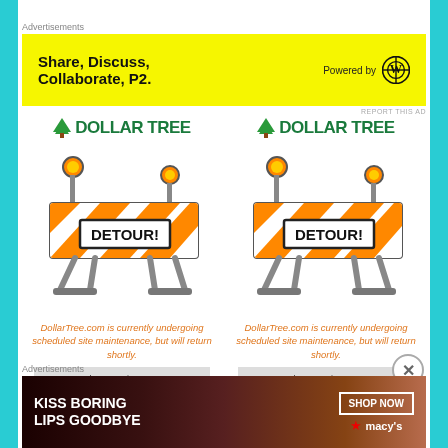Advertisements
[Figure (screenshot): Yellow advertisement banner: Share, Discuss, Collaborate, P2. Powered by WordPress logo]
REPORT THIS AD
[Figure (screenshot): Dollar Tree detour page - left panel with DETOUR! barricade and message: DollarTree.com is currently undergoing scheduled site maintenance, but will return shortly. In the meantime, come]
[Figure (screenshot): Dollar Tree detour page - right panel with DETOUR! barricade and message: DollarTree.com is currently undergoing scheduled site maintenance, but will return shortly. In the meantime, come]
Advertisements
[Figure (screenshot): Macy's advertisement: KISS BORING LIPS GOODBYE - SHOP NOW with Macy's star logo, showing woman with red lips]